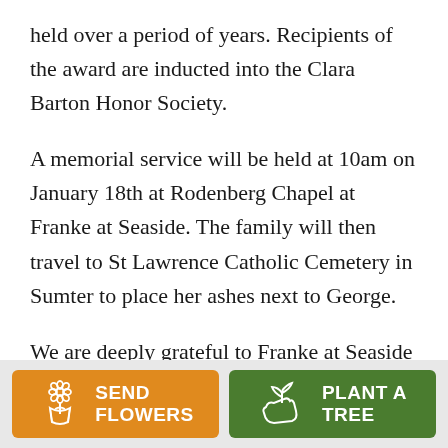held over a period of years. Recipients of the award are inducted into the Clara Barton Honor Society.
A memorial service will be held at 10am on January 18th at Rodenberg Chapel at Franke at Seaside. The family will then travel to St Lawrence Catholic Cemetery in Sumter to place her ashes next to George.
We are deeply grateful to Franke at Seaside and the love and care they showed to our Elouise. In lieu of flowers, memorials may be made to: Lutheran Homes
[Figure (other): Two buttons at the bottom: orange 'SEND FLOWERS' button with flower bouquet icon, and green 'PLANT A TREE' button with plant/hand icon.]